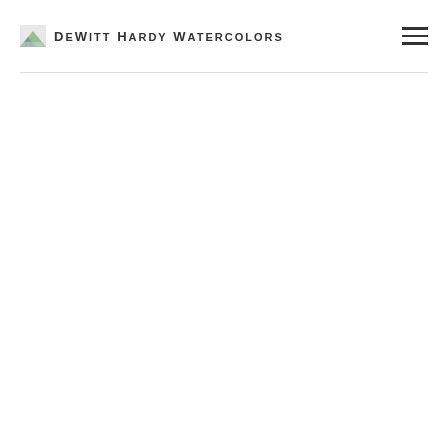DeWitt Hardy Watercolors
[Figure (other): Blank white content area below header navigation bar]